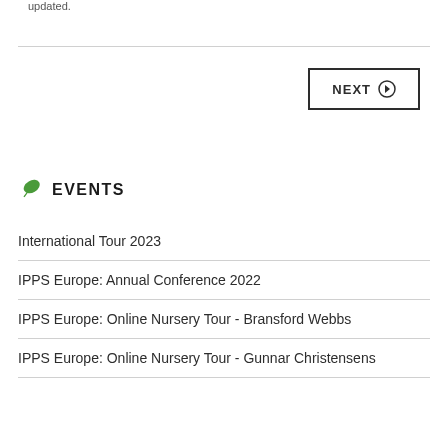updated.
NEXT ➔
EVENTS
International Tour 2023
IPPS Europe: Annual Conference 2022
IPPS Europe: Online Nursery Tour - Bransford Webbs
IPPS Europe: Online Nursery Tour - Gunnar Christensens